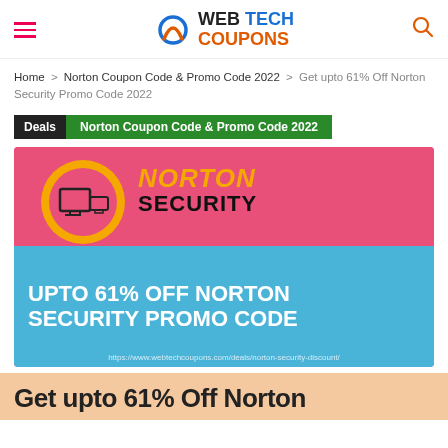[Figure (logo): Web Tech Coupons logo with hamburger menu and search icon]
Home > Norton Coupon Code & Promo Code 2022 > Get upto 61% Off Norton Security Promo Code 2022
Deals  Norton Coupon Code & Promo Code 2022
[Figure (illustration): Norton Security promotional banner with pink background, yellow circle logo, and blue banner saying UPTO 61% OFF NORTON SECURITY PROMO CODE]
Get upto 61% Off Norton